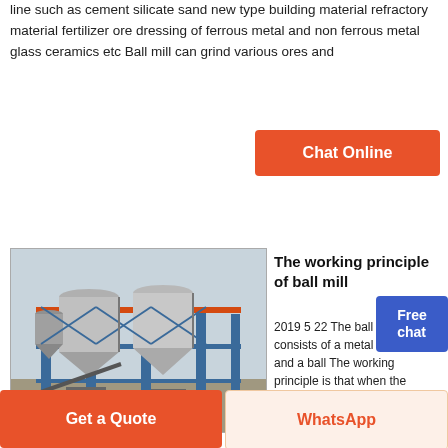line such as cement silicate sand new type building material refractory material fertilizer ore dressing of ferrous metal and non ferrous metal glass ceramics etc Ball mill can grind various ores and
[Figure (other): Button labeled Chat Online with orange background]
[Figure (photo): Industrial facility with large cylindrical silos on blue steel framework structure]
The working principle of ball mill
2019 5 22 The ball mill consists of a metal cylinder and a ball The working principle is that when the cylinder is rotated the grinding body ball and the object to be polished material installed in the cylinder are rotated by the cylinder under the action of friction and centrifugal force.
[Figure (other): Free chat badge in blue]
[Figure (other): Chat Online button partially visible at bottom]
[Figure (other): Get a Quote button - orange]
[Figure (other): WhatsApp button - light orange background]